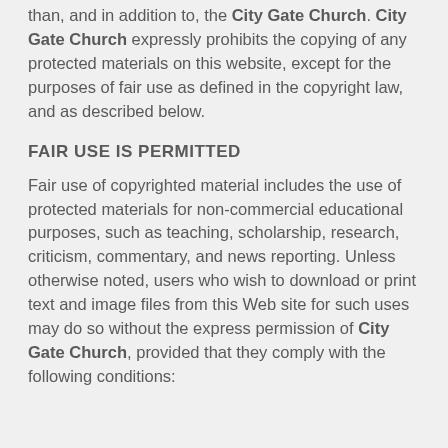than, and in addition to, the City Gate Church. City Gate Church expressly prohibits the copying of any protected materials on this website, except for the purposes of fair use as defined in the copyright law, and as described below.
FAIR USE IS PERMITTED
Fair use of copyrighted material includes the use of protected materials for non-commercial educational purposes, such as teaching, scholarship, research, criticism, commentary, and news reporting. Unless otherwise noted, users who wish to download or print text and image files from this Web site for such uses may do so without the express permission of City Gate Church, provided that they comply with the following conditions: